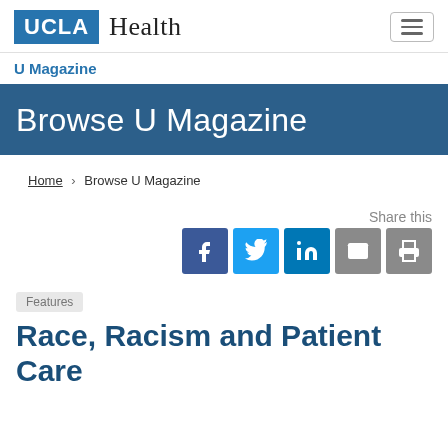[Figure (logo): UCLA Health logo with blue UCLA box and Health text in serif]
U Magazine
Browse U Magazine
Home > Browse U Magazine
Share this
[Figure (other): Social share icons: Facebook, Twitter, LinkedIn, Email, Print]
Features
Race, Racism and Patient Care